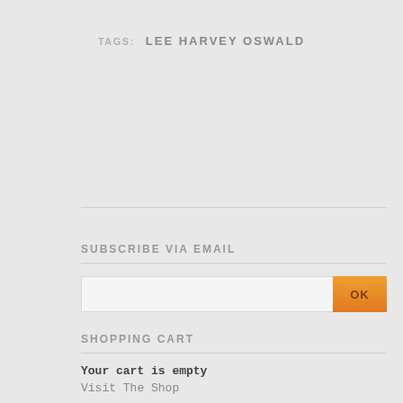TAGS: LEE HARVEY OSWALD
SUBSCRIBE VIA EMAIL
SHOPPING CART
Your cart is empty
Visit The Shop